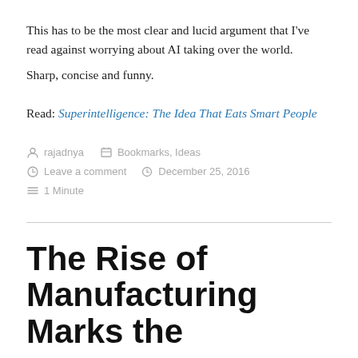This has to be the most clear and lucid argument that I've read against worrying about AI taking over the world.
Sharp, concise and funny.
Read: Superintelligence: The Idea That Eats Smart People
rajadnya   Bookmarks, Ideas   Leave a comment   December 25, 2016   1 Minute
The Rise of Manufacturing Marks the